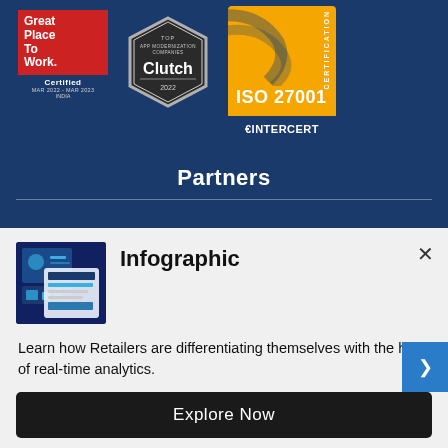[Figure (logo): Great Place To Work Certified badge (red and blue, MAR 2022 - MAR 2023, INDIA)]
[Figure (logo): Clutch Top App Modernization Companies 2022 hexagon badge]
[Figure (logo): ISO 27001 Certification badge with INTERCERT logo on yellow and blue background]
Partners
[Figure (screenshot): Thumbnail image of an infographic showing retail analytics content]
Infographic
Learn how Retailers are differentiating themselves with the help of real-time analytics.
Explore Now